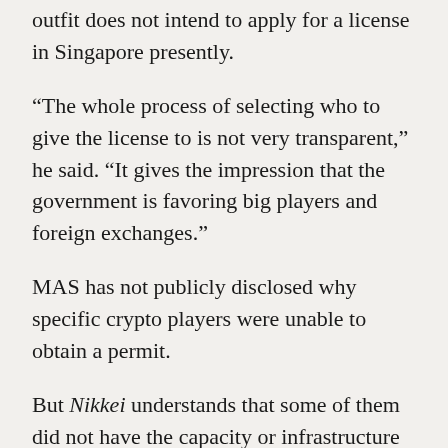outfit does not intend to apply for a license in Singapore presently.
“The whole process of selecting who to give the license to is not very transparent,” he said. “It gives the impression that the government is favoring big players and foreign exchanges.”
MAS has not publicly disclosed why specific crypto players were unable to obtain a permit.
But Nikkei understands that some of them did not have the capacity or infrastructure to meet the high compliance standards set out by the financial regulator to deter money laundering and financing of terrorism.
“Crypto companies…